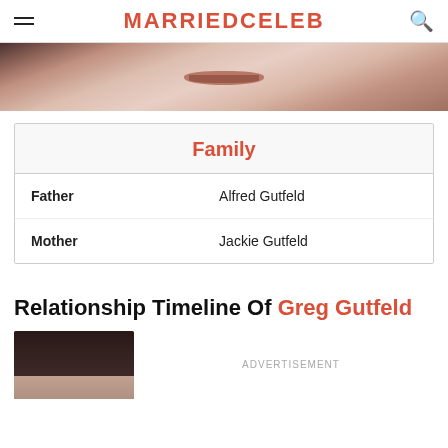MARRIEDCELEB
[Figure (photo): Close-up photo of a person's lower face showing mouth and chin area]
| Family |
| --- |
| Father | Alfred Gutfeld |
| Mother | Jackie Gutfeld |
Relationship Timeline Of Greg Gutfeld
[Figure (photo): Partially visible photo of a person with dark hair]
ADVERTISEMENT